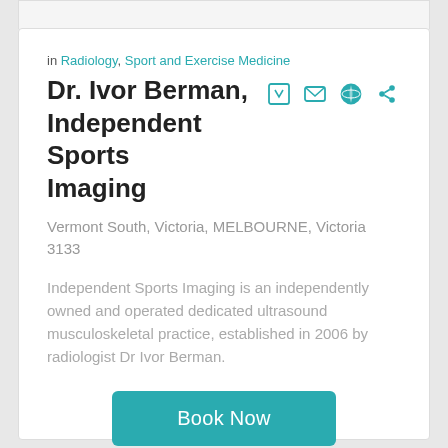in Radiology, Sport and Exercise Medicine
Dr. Ivor Berman, Independent Sports Imaging
Vermont South, Victoria, MELBOURNE, Victoria 3133
Independent Sports Imaging is an independently owned and operated dedicated ultrasound musculoskeletal practice, established in 2006 by radiologist Dr Ivor Berman.
Book Now
03 9561 5155